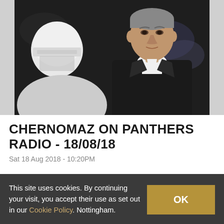[Figure (photo): Sports photo showing a man in a dark suit (coach) with a serious expression, and another person wearing a white hockey helmet in the foreground, blurred arena background]
CHERNOMAZ ON PANTHERS RADIO - 18/08/18
Sat 18 Aug 2018 - 10:20PM
This site uses cookies. By continuing your visit, you accept their use as set out in our Cookie Policy. Nottingham.